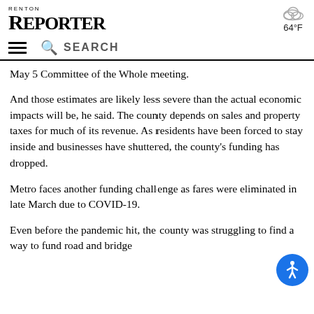RENTON REPORTER | 64°F
May 5 Committee of the Whole meeting.
And those estimates are likely less severe than the actual economic impacts will be, he said. The county depends on sales and property taxes for much of its revenue. As residents have been forced to stay inside and businesses have shuttered, the county's funding has dropped.
Metro faces another funding challenge as fares were eliminated in late March due to COVID-19.
Even before the pandemic hit, the county was struggling to find a way to fund road and bridge maintenance. The county's Local Services...